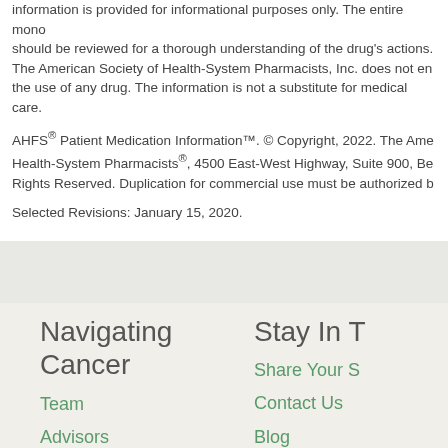information is provided for informational purposes only. The entire monograph should be reviewed for a thorough understanding of the drug's actions. The American Society of Health-System Pharmacists, Inc. does not endorse the use of any drug. The information is not a substitute for medical care.
AHFS® Patient Medication Information™. © Copyright, 2022. The American Society of Health-System Pharmacists®, 4500 East-West Highway, Suite 900, Bethesda, Maryland. All Rights Reserved. Duplication for commercial use must be authorized by ASHP.
Selected Revisions: January 15, 2020.
Navigating Cancer
Team
Advisors
Media
Stay In T
Share Your S
Contact Us
Blog